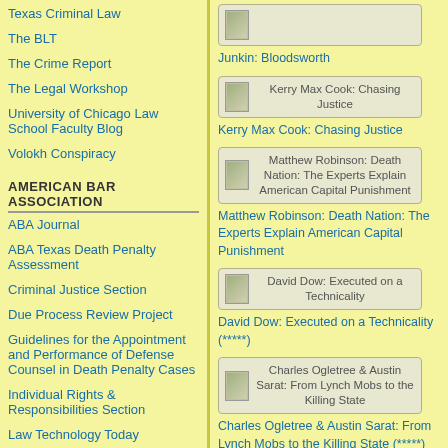Texas Criminal Law
The BLT
The Crime Report
The Legal Workshop
University of Chicago Law School Faculty Blog
Volokh Conspiracy
AMERICAN BAR ASSOCIATION
ABA Journal
ABA Texas Death Penalty Assessment
Criminal Justice Section
Due Process Review Project
Guidelines for the Appointment and Performance of Defense Counsel in Death Penalty Cases
Individual Rights & Responsibilities Section
Law Technology Today
[Figure (illustration): Book cover thumbnail for Junkin: Bloodsworth]
Junkin: Bloodsworth
[Figure (illustration): Book cover thumbnail for Kerry Max Cook: Chasing Justice]
Kerry Max Cook: Chasing Justice
[Figure (illustration): Book cover thumbnail for Matthew Robinson: Death Nation: The Experts Explain American Capital Punishment]
Matthew Robinson: Death Nation: The Experts Explain American Capital Punishment
[Figure (illustration): Book cover thumbnail for David Dow: Executed on a Technicality]
David Dow: Executed on a Technicality (*****)
[Figure (illustration): Book cover thumbnail for Charles Ogletree & Austin Sarat: From Lynch Mobs to the Killing State]
Charles Ogletree & Austin Sarat: From Lynch Mobs to the Killing State (*****)
Thomas Geoghegan: In America's Court